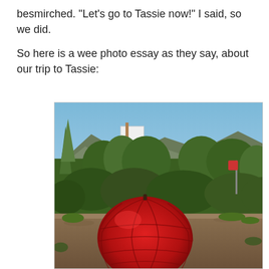besmirched.  "Let's go to Tassie now!" I said, so we did.

So here is a wee photo essay as they say, about our trip to Tassie:
[Figure (photo): Outdoor photo showing trees and shrubs with hills/mountains in background under a blue sky. In the foreground is a large red sculptural ball made of rounded segments, resembling a stylized apple or raspberry, sitting on the ground among the greenery.]